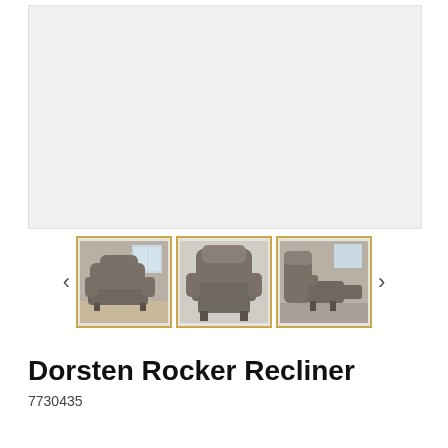[Figure (photo): Large main product image area showing a Dorsten Rocker Recliner — light gray background placeholder]
[Figure (photo): Three thumbnail images of the Dorsten Rocker Recliner: (1) front-angle view in room setting, (2) front-facing closed position, (3) side view in reclined position with footrest extended. Navigation arrows on left and right.]
Dorsten Rocker Recliner
7730435